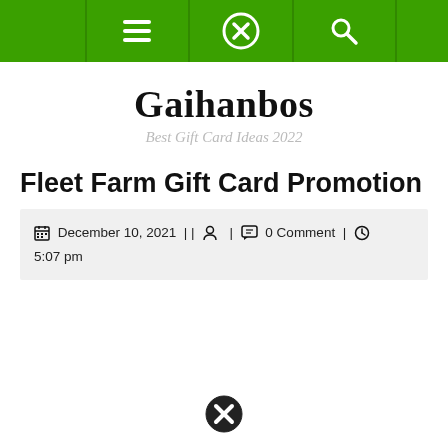Gaihanbos navigation bar with hamburger menu, X close button, and search icon
Gaihanbos
Best Gift Card Ideas 2022
Fleet Farm Gift Card Promotion
December 10, 2021 || 0 Comment | 5:07 pm